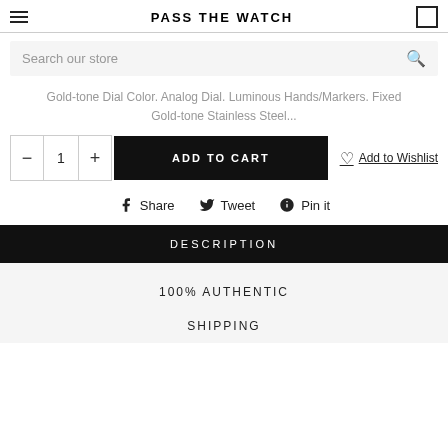PASS THE WATCH
Search our store
Gold-tone Dial Color. Analog Dial. Luminous Hands/Markers. Fixed Gold-tone Stainless Steel...
ADD TO CART
Add to Wishlist
Share  Tweet  Pin it
DESCRIPTION
100% AUTHENTIC
SHIPPING